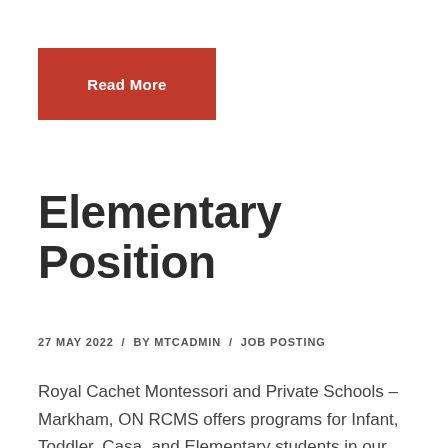[Figure (other): Red button with white bold text 'Read More']
Elementary Position
27 MAY 2022   /   BY MTCADMIN   /   JOB POSTING
Royal Cachet Montessori and Private Schools – Markham, ON RCMS offers programs for Infant, Toddler, Casa, and Elementary students in our clean, bright, spacious, and healthy environment facilities located in Markham and Stouffville. With